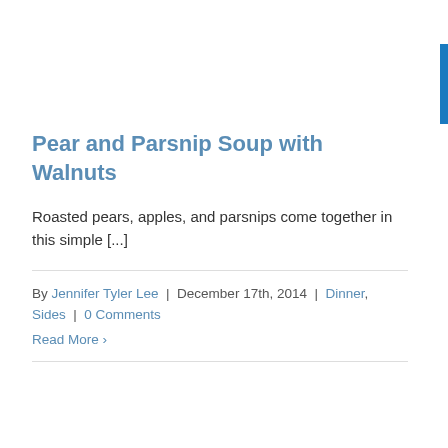Pear and Parsnip Soup with Walnuts
Roasted pears, apples, and parsnips come together in this simple [...]
By Jennifer Tyler Lee | December 17th, 2014 | Dinner, Sides | 0 Comments
Read More >